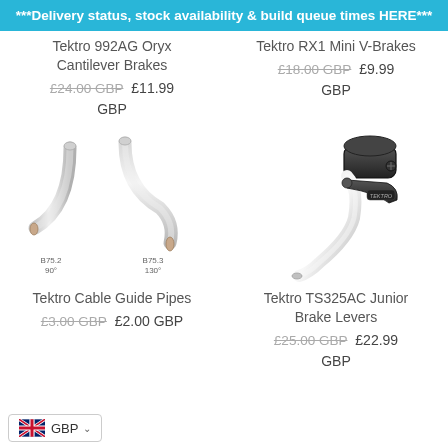***Delivery status, stock availability & build queue times HERE***
Tektro 992AG Oryx Cantilever Brakes
£24.00 GBP  £11.99 GBP
Tektro RX1 Mini V-Brakes
£18.00 GBP  £9.99 GBP
[Figure (photo): Two silver curved cable guide pipes labeled B75.2 90° and B75.3 130°]
[Figure (photo): Black and silver Tektro junior brake lever]
Tektro Cable Guide Pipes
£3.00 GBP  £2.00 GBP
Tektro TS325AC Junior Brake Levers
£25.00 GBP  £22.99 GBP
GBP